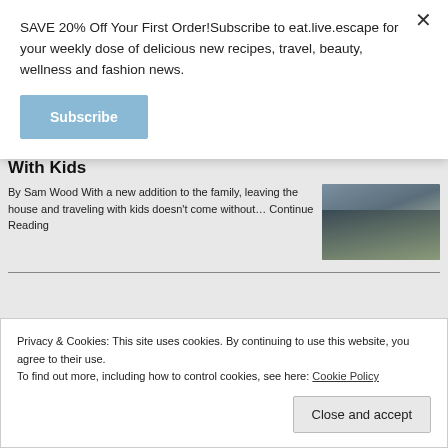SAVE 20% Off Your First Order!Subscribe to eat.live.escape for your weekly dose of delicious new recipes, travel, beauty, wellness and fashion news.
[Figure (other): Blue 'Subscribe' button]
With Kids
[Figure (photo): Photo of an adult and child outdoors in a field]
By Sam Wood With a new addition to the family, leaving the house and traveling with kids doesn't come without… Continue Reading
Privacy & Cookies: This site uses cookies. By continuing to use this website, you agree to their use.
To find out more, including how to control cookies, see here: Cookie Policy
[Figure (other): 'Close and accept' button for cookie consent]